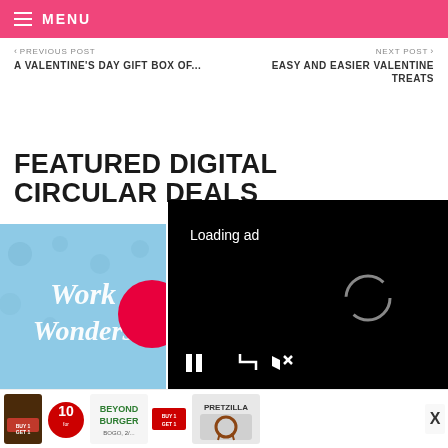MENU
< PREVIOUS POST
A VALENTINE'S DAY GIFT BOX OF...
NEXT POST >
EASY AND EASIER VALENTINE TREATS
FEATURED DIGITAL CIRCULAR DEALS
[Figure (screenshot): Video ad overlay showing 'Loading ad' text with spinner and playback controls (pause, fullscreen, mute) on black background]
[Figure (photo): Work Wonders promotional image with cursive text on blue background with red circle element]
[Figure (screenshot): Bottom advertisement strip showing chocolate product with BUY 1 GET 1 badge, 10 for deal, Beyond Burger product, BUY 1 GET 1 badge, Pretzilla product, and X close button]